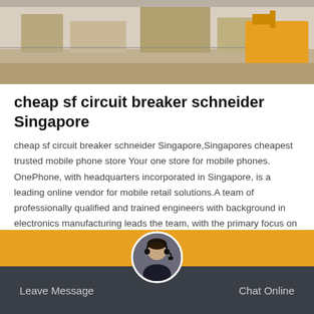[Figure (photo): Outdoor construction/industrial site photo showing machinery and yellow equipment on a gravel/dirt area]
cheap sf circuit breaker schneider Singapore
cheap sf circuit breaker schneider Singapore,Singapores cheapest trusted mobile phone store Your one store for mobile phones. OnePhone, with headquarters incorporated in Singapore, is a leading online vendor for mobile retail solutions.A team of professionally qualified and trained engineers with background in electronics manufacturing leads the team, with the primary focus on cost effectiveness and customer service.
Get Price
Leave Message   Chat Online